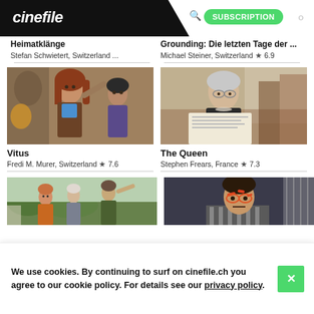cinefile | QUICK SEARCH | SUBSCRIPTION
Heimatklänge
Stefan Schwietert, Switzerland ...
Grounding: Die letzten Tage der ...
Michael Steiner, Switzerland ★6.9
[Figure (photo): Movie still from Vitus: a young woman with red hair pointing, and a boy looking surprised, indoor setting]
Vitus
Fredi M. Murer, Switzerland ★7.6
[Figure (photo): Movie still from The Queen: an elderly woman reading a newspaper, indoor room setting]
The Queen
Stephen Frears, France ★7.3
[Figure (photo): Partial movie still showing three older women outdoors in a garden/park setting]
[Figure (photo): Partial movie still showing a young person with face markings/paint]
We use cookies. By continuing to surf on cinefile.ch you agree to our cookie policy. For details see our privacy policy.